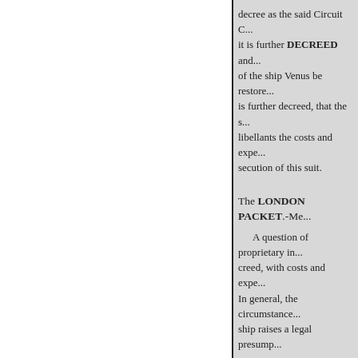decree as the said Circuit C... it is further DECREED and... of the ship Venus be restore... is further decreed, that the s... libellants the costs and expe... secution of this suit.
The LONDON PACKET.-Me...
A question of proprietary in... creed, with costs and expe... In general, the circumstance... ship raises a legal presump...
THIS was the claim of a Span... British ship, at the port of Bueno... on her voyage to London, was ca...
« Forrige